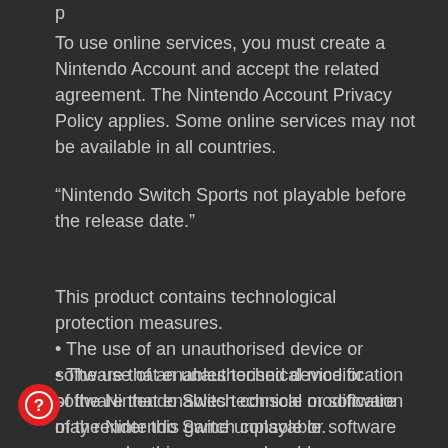To use online services, you must create a Nintendo Account and accept the related agreement. The Nintendo Account Privacy Policy applies. Some online services may not be available in all countries.
“Nintendo Switch Sports not playable before the release date.”
This product contains technological protection measures.
• The use of an unauthorised device or software that enables technical modification of the Nintendo Switch console or software may render this game unplayable.
• A system update may be required to play.
Basic reading ability in one of the software languages is needed to fully enjoy this software.